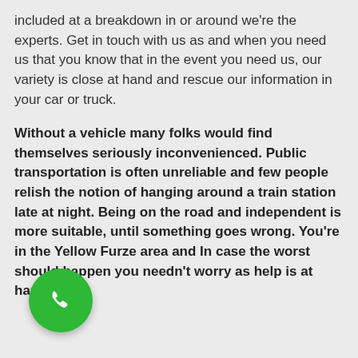included at a breakdown in or around we're the experts. Get in touch with us as and when you need us that you know that in the event you need us, our variety is close at hand and rescue our information in your car or truck.
Without a vehicle many folks would find themselves seriously inconvenienced. Public transportation is often unreliable and few people relish the notion of hanging around a train station late at night. Being on the road and independent is more suitable, until something goes wrong. You're in the Yellow Furze area and In case the worst should happen you needn't worry as help is at hand.
[Figure (illustration): Green circular button with white phone/call icon]